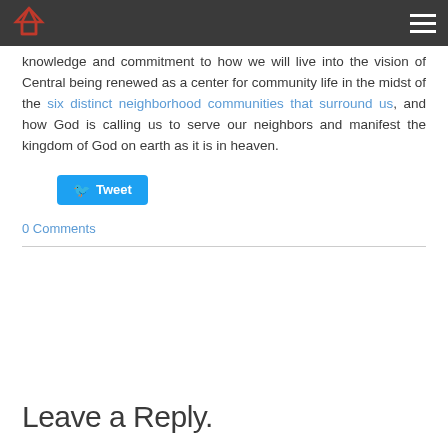[Church logo and navigation menu]
knowledge and commitment to how we will live into the vision of Central being renewed as a center for community life in the midst of the six distinct neighborhood communities that surround us, and how God is calling us to serve our neighbors and manifest the kingdom of God on earth as it is in heaven.
Tweet
0 Comments
Leave a Reply.